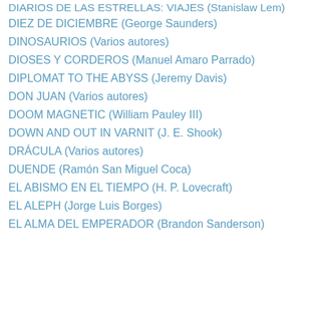DIARIOS DE LAS ESTRELLAS: VIAJES (Stanislaw Lem)
DIEZ DE DICIEMBRE (George Saunders)
DINOSAURIOS (Varios autores)
DIOSES Y CORDEROS (Manuel Amaro Parrado)
DIPLOMAT TO THE ABYSS (Jeremy Davis)
DON JUAN (Varios autores)
DOOM MAGNETIC (William Pauley III)
DOWN AND OUT IN VARNIT (J. E. Shook)
DRÁCULA (Varios autores)
DUENDE (Ramón San Miguel Coca)
EL ABISMO EN EL TIEMPO (H. P. Lovecraft)
EL ALEPH (Jorge Luis Borges)
EL ALMA DEL EMPERADOR (Brandon Sanderson)